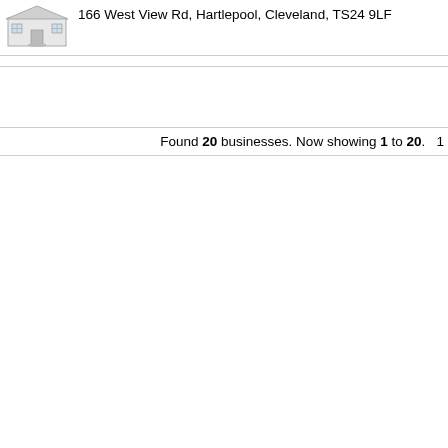[Figure (illustration): Generic house/building icon in light grey outline style]
166 West View Rd, Hartlepool, Cleveland, TS24 9LF
Found 20 businesses. Now showing 1 to 20.  1